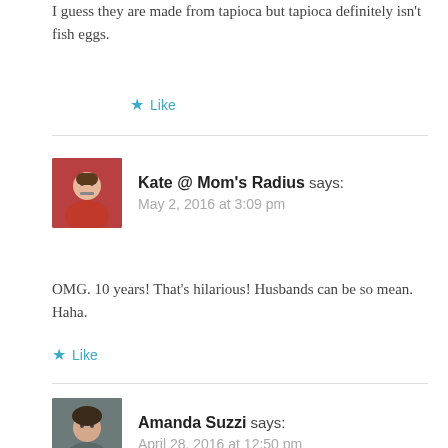I guess they are made from tapioca but tapioca definitely isn't fish eggs.
Like
Kate @ Mom's Radius says: May 2, 2016 at 3:09 pm
OMG. 10 years! That's hilarious! Husbands can be so mean. Haha.
Like
Amanda Suzzi says: April 28, 2016 at 12:50 pm
I love that you created a wardrobe with only special